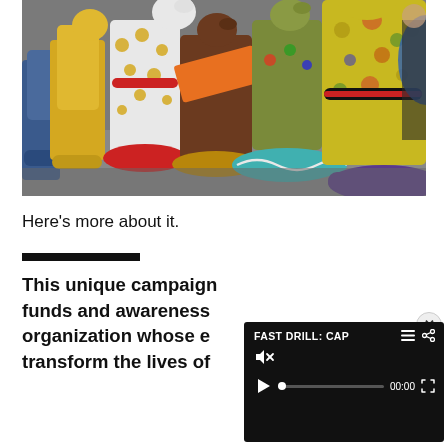[Figure (photo): Row of colorful painted dog sculptures on decorative bases, displayed indoors. Dogs are painted in various colors and patterns including yellow, white with polka dots, brown, and blue. Bases include surfboard shapes and round pedestals.]
Here’s more about it.
[Figure (other): Horizontal black divider line]
This unique campaign funds and awareness organization whose e transform the lives of
[Figure (screenshot): Video player overlay with black background. Title reads 'FAST DRILL: CAP' with menu and share icons. Mute icon shown. Playback controls include play button, progress bar with dot at start, time display '00:00', and fullscreen button. Close button (x) in top-right circle.]